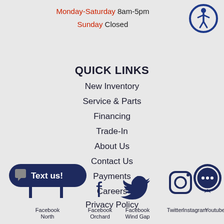Monday-Saturday 8am-5pm
Sunday Closed
[Figure (illustration): Blue circle accessibility icon with a white human figure]
QUICK LINKS
New Inventory
Service & Parts
Financing
Trade-In
About Us
Contact Us
Payments
Careers
Privacy Policy
[Figure (illustration): Text us button with chat icon, followed by Facebook, Twitter, Instagram, Youtube social media icons and labels: Facebook North, Facebook Orchard, Facebook Wind Gap, Twitter, Instagram, Youtube]